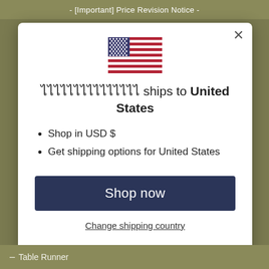- [Important] Price Revision Notice -
[Figure (illustration): US flag emoji/icon]
ไไไไไไไไไไไไไไไ ships to United States
Shop in USD $
Get shipping options for United States
Shop now
Change shipping country
- Table Runner